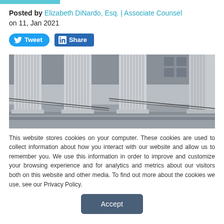Posted by Elizabeth DiNardo, Esq. | Associate Counsel on 11, Jan 2021
[Figure (photo): Photograph of classical stone columns on a courthouse or government building facade, viewed from a low angle showing steps and railings]
This website stores cookies on your computer. These cookies are used to collect information about how you interact with our website and allow us to remember you. We use this information in order to improve and customize your browsing experience and for analytics and metrics about our visitors both on this website and other media. To find out more about the cookies we use, see our Privacy Policy.
Accept